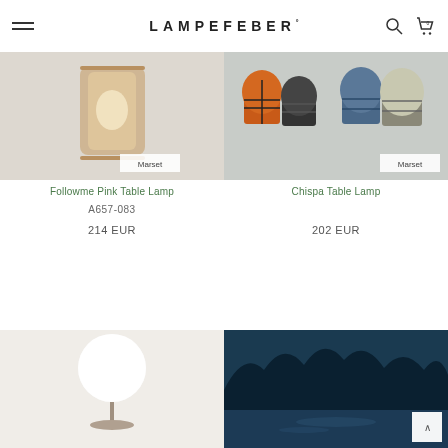LAMPEFEBER° — Navigation header with hamburger menu, logo, search and cart icons
[Figure (photo): Followme Pink Table Lamp product photo showing a warm amber/pink glass lamp with a thin frame, brand tag 'Marset' in bottom right corner]
[Figure (photo): Chispa Table Lamp product photo showing four lamp variants in orange, dark, blue, and light colors with cage-like metal frames, brand tag 'Marset' in bottom right corner]
Followme Pink Table Lamp
Chispa Table Lamp
A657-083
214 EUR
202 EUR
[Figure (photo): Table lamp with a large round white globe shade on a thin stem with a circular base plate, warm background]
[Figure (photo): Outdoor evening scene with dark blue tones showing palm trees or tropical vegetation reflected in water, with a back-to-top arrow button in the bottom right]